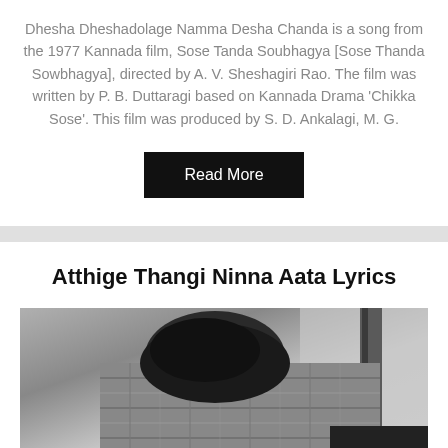Dhesha Dheshadolage Namma Desha Chanda is a song from the 1977 Kannada film, Sose Tanda Soubhagya [Sose Thanda Sowbhagya], directed by A. V. Sheshagiri Rao. The film was written by P. B. Duttaragi based on Kannada Drama ‘Chikka Sose’. This film was produced by S. D. Ankalagi, M. G.
Read More
Atthige Thangi Ninna Aata Lyrics
[Figure (photo): Black and white photograph of a person with head bowed, wearing a plaid/checkered shirt, partially visible near a wooden pole or post]